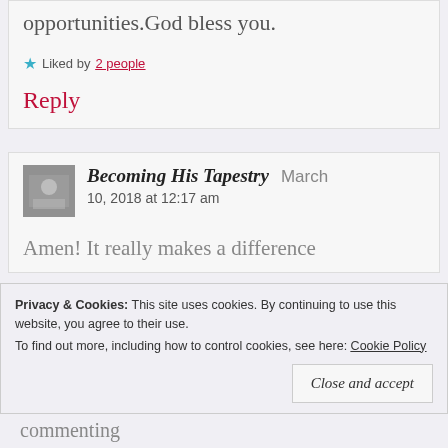opportunities.God bless you.
Liked by 2 people
Reply
Becoming His Tapestry   March 10, 2018 at 12:17 am
Amen! It really makes a difference
Privacy & Cookies: This site uses cookies. By continuing to use this website, you agree to their use.
To find out more, including how to control cookies, see here: Cookie Policy
Close and accept
commenting